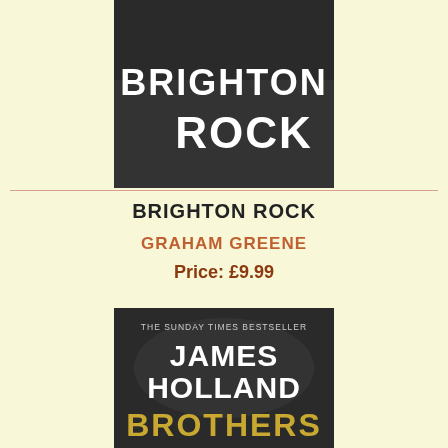[Figure (illustration): Book cover of Brighton Rock showing dark background with white bold text 'BRIGHTON ROCK']
BRIGHTON ROCK
GRAHAM GREENE
Price: £9.99
[Figure (illustration): Book cover for 'Brothers' by James Holland, described as The Sunday Times Bestseller, dark smoky background with white author name and gold title text]